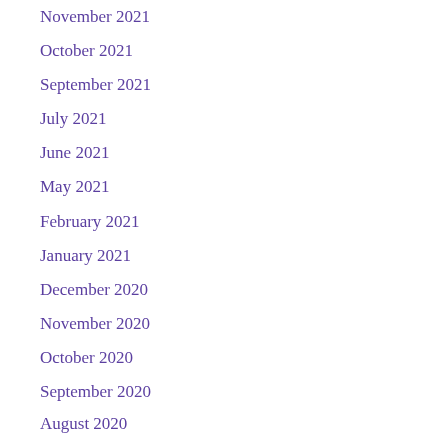November 2021
October 2021
September 2021
July 2021
June 2021
May 2021
February 2021
January 2021
December 2020
November 2020
October 2020
September 2020
August 2020